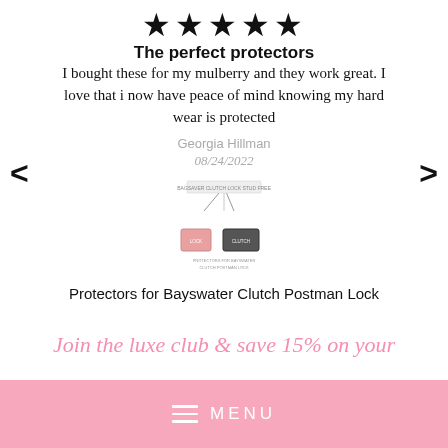[Figure (other): Five black star rating icons]
The perfect protectors
I bought these for my mulberry and they work great. I love that i now have peace of mind knowing my hard wear is protected
Georgia Hillman
08/24/2022
[Figure (photo): Small product image of Protectors for Bayswater Clutch Postman Lock with connecting lines diagram]
Protectors for Bayswater Clutch Postman Lock
Join the luxe club & save 15% on your
MENU